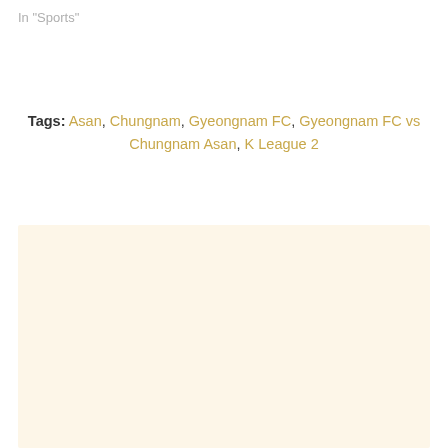In "Sports"
Tags: Asan, Chungnam, Gyeongnam FC, Gyeongnam FC vs Chungnam Asan, K League 2
[Figure (other): Beige/cream colored rectangular advertisement or content block placeholder]